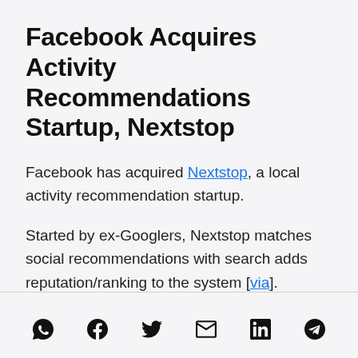Facebook Acquires Activity Recommendations Startup, Nextstop
Facebook has acquired Nextstop, a local activity recommendation startup.
Started by ex-Googlers, Nextstop matches social recommendations with search adds reputation/ranking to the system [via].
Social share icons: WhatsApp, Facebook, Twitter, Email, LinkedIn, Telegram